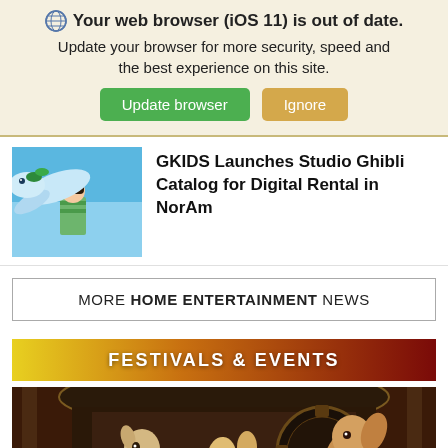Your web browser (iOS 11) is out of date. Update your browser for more security, speed and the best experience on this site.
Update browser | Ignore
[Figure (illustration): Spirited Away animated movie thumbnail showing Chihiro and a dragon]
GKIDS Launches Studio Ghibli Catalog for Digital Rental in NorAm
MORE HOME ENTERTAINMENT NEWS
FESTIVALS & EVENTS
[Figure (photo): Dark fantasy film still showing puppet/animated characters in an ornate theatrical setting]